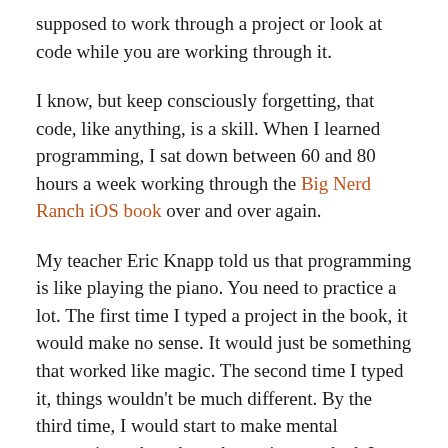supposed to work through a project or look at code while you are working through it.
I know, but keep consciously forgetting, that code, like anything, is a skill. When I learned programming, I sat down between 60 and 80 hours a week working through the Big Nerd Ranch iOS book over and over again.
My teacher Eric Knapp told us that programming is like playing the piano. You need to practice a lot. The first time I typed a project in the book, it would make no sense. It would just be something that worked like magic. The second time I typed it, things wouldn't be much different. By the third time, I would start to make mental connections about how the project worked. I was starting to form a signal flow document mentally about how an object I created in one place would pull information from another object and result in an output. By the fourth time I understood how the whole program would work.